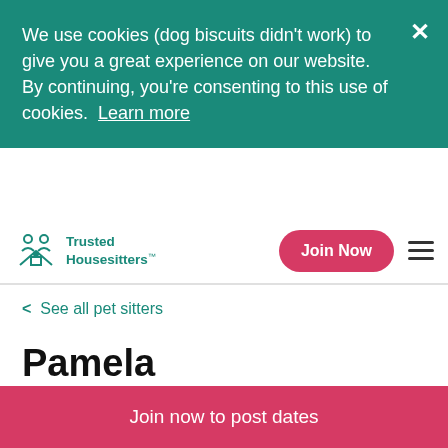We use cookies (dog biscuits didn't work) to give you a great experience on our website. By continuing, you're consenting to this use of cookies.  Learn more
Trusted Housesitters™
< See all pet sitters
Pamela
Young Brazilian studying at the University of Victoria, BC, Canada
Join now to post dates